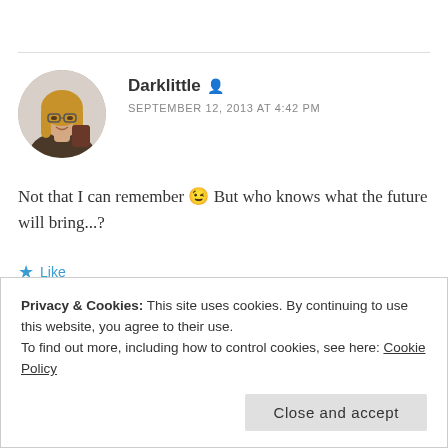[Figure (photo): Circular avatar photo of a woman with glasses and long hair]
Darklittle
SEPTEMBER 12, 2013 AT 4:42 PM
Not that I can remember 😉 But who knows what the future will bring...?
★ Like
Privacy & Cookies: This site uses cookies. By continuing to use this website, you agree to their use.
To find out more, including how to control cookies, see here: Cookie Policy
Close and accept
Well, if you do it, you must make sure to make